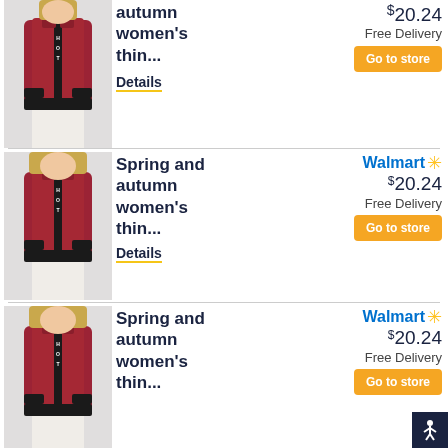[Figure (photo): Woman wearing a dark red/maroon bomber jacket with white pants (partial, top cropped)]
autumn women's thin...
Details
$ 20.24
Free Delivery
Go to store
[Figure (photo): Woman wearing a dark red/maroon bomber jacket with white pants]
Spring and autumn women's thin...
Details
Walmart ✦
$ 20.24
Free Delivery
Go to store
[Figure (photo): Woman wearing a dark red/maroon bomber jacket with white pants]
Spring and autumn women's thin...
Walmart ✦
$ 20.24
Free Delivery
Go to store